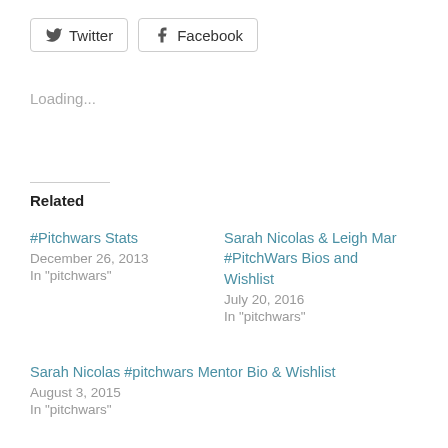[Figure (other): Twitter and Facebook social share buttons]
Loading...
Related
#Pitchwars Stats
December 26, 2013
In "pitchwars"
Sarah Nicolas & Leigh Mar #PitchWars Bios and Wishlist
July 20, 2016
In "pitchwars"
Sarah Nicolas #pitchwars Mentor Bio & Wishlist
August 3, 2015
In "pitchwars"